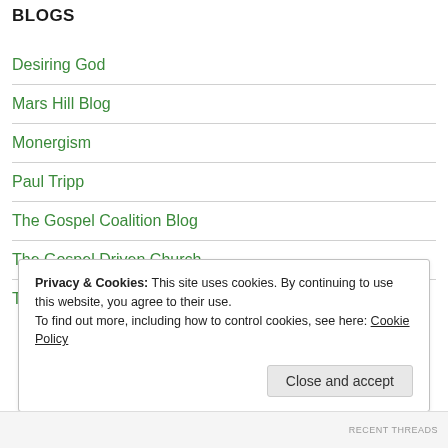BLOGS
Desiring God
Mars Hill Blog
Monergism
Paul Tripp
The Gospel Coalition Blog
The Gospel Driven Church
The Village Church Blog
Privacy & Cookies: This site uses cookies. By continuing to use this website, you agree to their use.
To find out more, including how to control cookies, see here: Cookie Policy
Close and accept